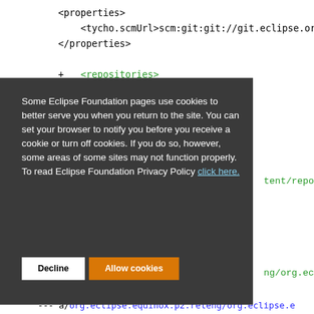<properties>
    <tycho.scmUrl>scm:git:git://git.eclipse.org
</properties>
+   <repositories>
+       <repository>
Some Eclipse Foundation pages use cookies to better serve you when you return to the site. You can set your browser to notify you before you receive a cookie or turn off cookies. If you do so, however, some areas of some sites may not function properly. To read Eclipse Foundation Privacy Policy click here.
Decline   Allow cookies
--- a/org.eclipse.equinox.p2.releng/org.eclipse.e